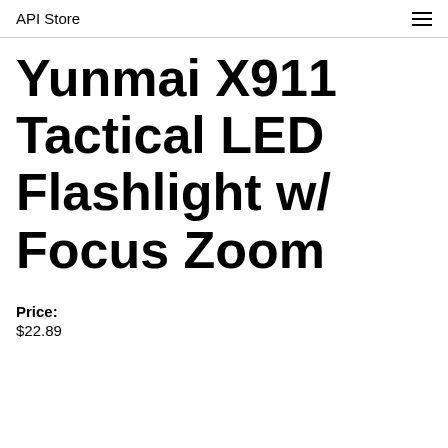API Store
Yunmai X911 Tactical LED Flashlight w/ Focus Zoom
Price:
$22.89